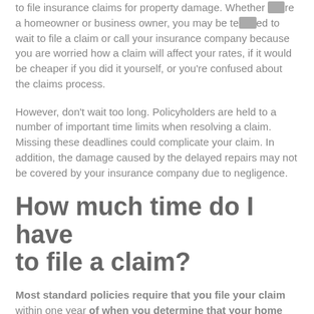to file insurance claims for property damage. Whether you are a homeowner or business owner, you may be tempted to wait to file a claim or call your insurance company because you are worried how a claim will affect your rates, if it would be cheaper if you did it yourself, or you're confused about the claims process.
However, don't wait too long. Policyholders are held to a number of important time limits when resolving a claim. Missing these deadlines could complicate your claim. In addition, the damage caused by the delayed repairs may not be covered by your insurance company due to negligence.
How much time do I have to file a claim?
Most standard policies require that you file your claim within one year of when you determine that your home has damage. Most policies have a stipulation that